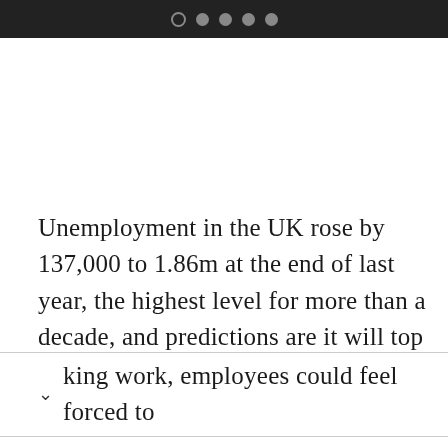● ● ● ●
Unemployment in the UK rose by 137,000 to 1.86m at the end of last year, the highest level for more than a decade, and predictions are it will top two million in the new year. With so many king work, employees could feel forced to